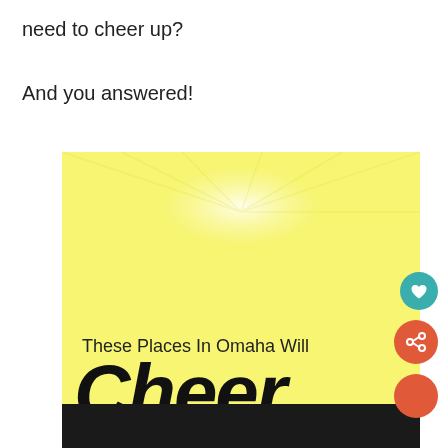need to cheer up?
And you answered!
[Figure (illustration): Yellow background image with sunburst/glare effect at top, text reading 'These Places In Omaha Will' and large bold italic 'Cheer' at the bottom, with a dark bar at the very bottom. Teal heart button and orange share button visible on right side.]